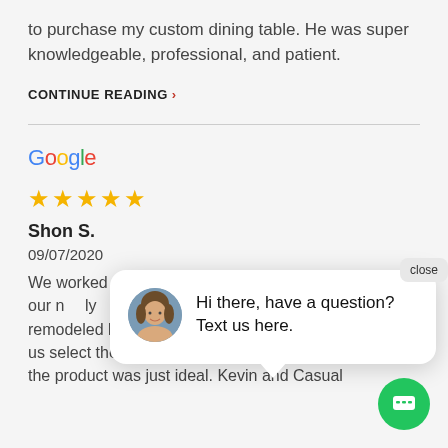to purchase my custom dining table. He was super knowledgeable, professional, and patient.
CONTINUE READING ›
[Figure (other): Google logo with colored letters]
★★★★★
Shon S.
09/07/2020
We worked with... Stools to find the ideal tall table for our newly remodeled kitchen dining area. Kevin h... us select the perfect design. Once delivered, the product was just ideal. Kevin and Casual
[Figure (other): Chat popup with female avatar photo saying Hi there, have a question? Text us here. With close button and green chat bubble button.]